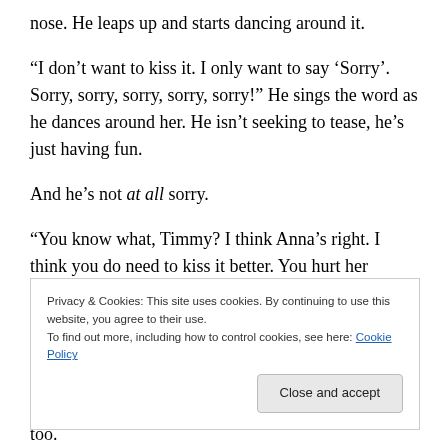nose. He leaps up and starts dancing around it.
“I don’t want to kiss it. I only want to say ‘Sorry’. Sorry, sorry, sorry, sorry, sorry!” He sings the word as he dances around her. He isn’t seeking to tease, he’s just having fun.
And he’s not at all sorry.
“You know what, Timmy? I think Anna’s right. I think you do need to kiss it better. You hurt her elbow. It was an accident, but you still need to pay attention to Anna when you say sorry. Stop dancing and look at Anna’s eyes.”
Privacy & Cookies: This site uses cookies. By continuing to use this website, you agree to their use.
To find out more, including how to control cookies, see here: Cookie Policy
concern? That’s the point of a ‘sorry’. Anna knows it too.